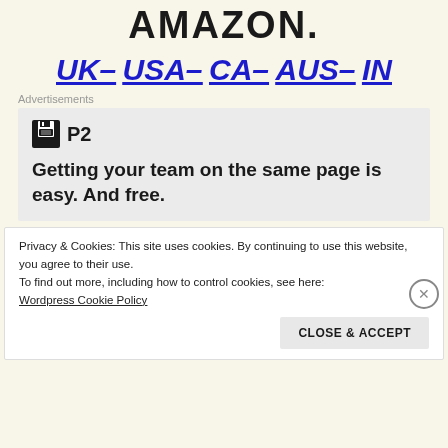AMAZON.
UK– USA– CA– AUS– IN
Advertisements
[Figure (logo): P2 product advertisement with logo icon showing floppy disk symbol and text 'P2', with headline 'Getting your team on the same page is easy. And free.']
Privacy & Cookies: This site uses cookies. By continuing to use this website, you agree to their use.
To find out more, including how to control cookies, see here:
Wordpress Cookie Policy
CLOSE & ACCEPT